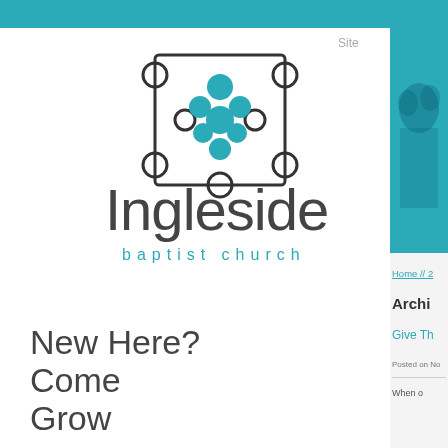[Figure (logo): Ingleside Baptist Church logo: geometric square with circles in teal and dark, with text 'Ingleside' in large thin font and 'baptist church' in teal spaced letters below]
Site
New Here?
Come
Grow
Serve
Go
About Us
[Figure (photo): Teal-tinted photo of people in a church setting]
Home // 2
Archi
Give Th
Posted on No
When o